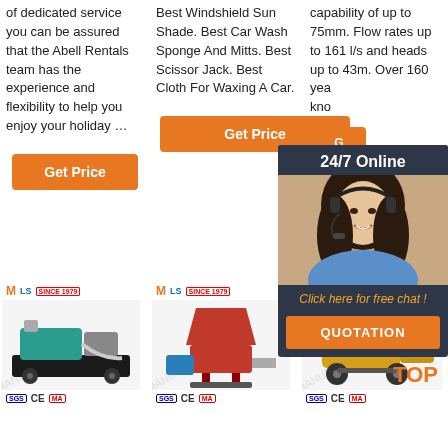of dedicated service you can be assured that the Abell Rentals team has the experience and flexibility to help you enjoy your holiday ...
[Figure (other): Orange 'Get Price' button]
[Figure (photo): Industrial pump machine product photo with watermark]
Best Windshield Sun Shade. Best Car Wash Sponge And Mitts. Best Scissor Jack. Best Cloth For Waxing A Car.
[Figure (other): Orange 'Get Price' button]
[Figure (photo): Red industrial mixing/grouting machine product photo with watermark]
capability of up to 75mm. Flow rates up to 161 l/s and heads up to 43m. Over 160 yea... kno...
[Figure (other): Orange 'Get Price' / 'G...' button (partially obscured)]
[Figure (photo): Yellow wheeled concrete pump machine product photo; TOP text overlay]
[Figure (other): Chat overlay popup: 24/7 Online, woman with headset, Click here for free chat!, QUOTATION button]